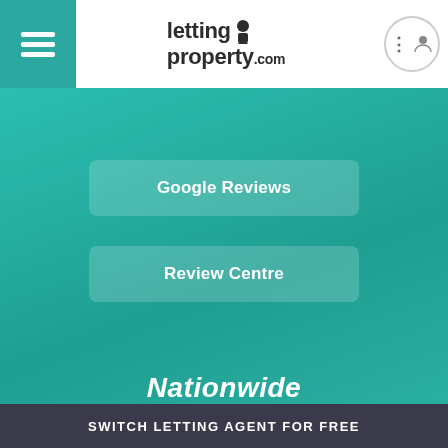[Figure (logo): lettingaproperty.com logo with hamburger menu on teal background on left and user account icon on right]
Google Reviews
Review Centre
Nationwide
SWITCH LETTING AGENT FOR FREE